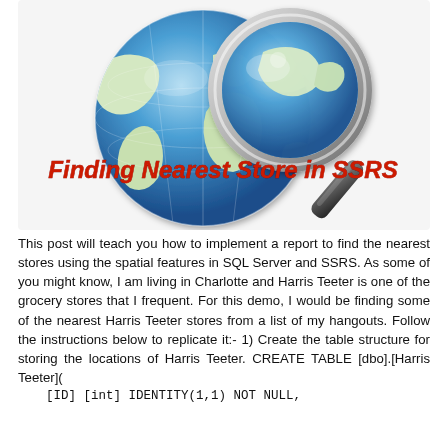[Figure (illustration): Globe with magnifying glass illustration. Bold red italic text overlay reads 'Finding Nearest Store in SSRS'.]
This post will teach you how to implement a report to find the nearest stores using the spatial features in SQL Server and SSRS. As some of you might know, I am living in Charlotte and Harris Teeter is one of the grocery stores that I frequent. For this demo, I would be finding some of the nearest Harris Teeter stores from a list of my hangouts. Follow the instructions below to replicate it:- 1) Create the table structure for storing the locations of Harris Teeter. CREATE TABLE [dbo].[Harris Teeter](
    [ID] [int] IDENTITY(1,1) NOT NULL,